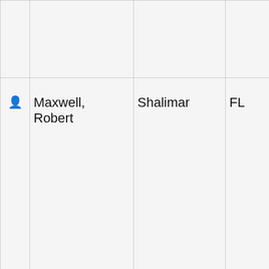|  | Name | City | State | Subjects | Skills |
| --- | --- | --- | --- | --- | --- |
|  |  |  |  | Typing, Writing |  |
| 👤 | Maxwell, Robert | Shalimar | FL | Biography, Business, Environment, Health And Wellness, Investigative Reporting, Labor / Workers Issues, Literature, Poetry, Politics and Government, Science, | Academic and Ed, Blogging, Writing, Writing, Ghostw, Illustra, Journa, Photo, Resea, Scien, Gene, Econo, Writin, Media |